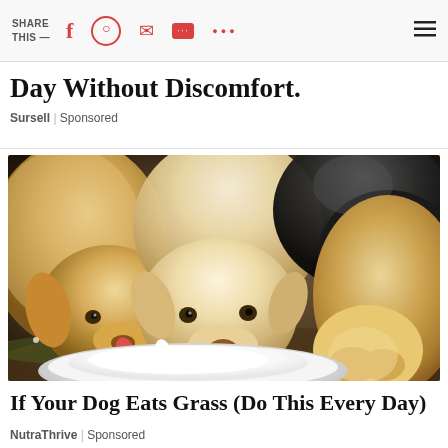SHARE THIS — [social share icons: Facebook, Pinterest, Email, SMS, More, Menu]
Day Without Discomfort.
Sursell | Sponsored
[Figure (photo): Several puppies eating white food from a plate on the ground — two golden/cream puppies in the center and foreground, a black puppy upper right, and a tan puppy far right]
If Your Dog Eats Grass (Do This Every Day)
NutraThrive | Sponsored